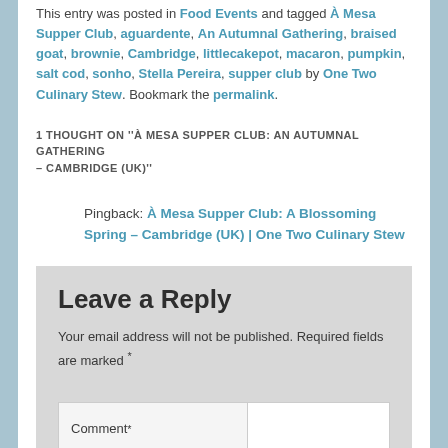This entry was posted in Food Events and tagged À Mesa Supper Club, aguardente, An Autumnal Gathering, braised goat, brownie, Cambridge, littlecakepot, macaron, pumpkin, salt cod, sonho, Stella Pereira, supper club by One Two Culinary Stew. Bookmark the permalink.
1 THOUGHT ON ''À MESA SUPPER CLUB: AN AUTUMNAL GATHERING – CAMBRIDGE (UK)''
Pingback: À Mesa Supper Club: A Blossoming Spring – Cambridge (UK) | One Two Culinary Stew
Leave a Reply
Your email address will not be published. Required fields are marked *
Comment *